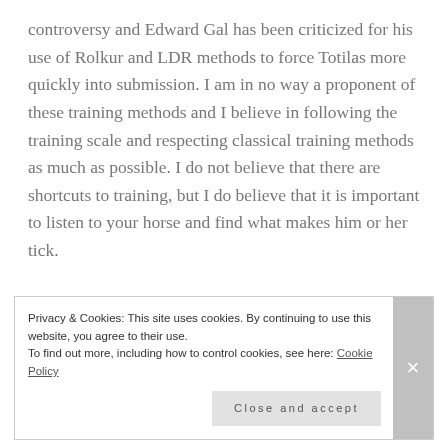controversy and Edward Gal has been criticized for his use of Rolkur and LDR methods to force Totilas more quickly into submission. I am in no way a proponent of these training methods and I believe in following the training scale and respecting classical training methods as much as possible. I do not believe that there are shortcuts to training, but I do believe that it is important to listen to your horse and find what makes him or her tick.

As for Aragorn, the moment I tried him in a double bridle, he became the softest and lightest he's ever been- and no, I am not riding the curb constantly! I am able to ride him
Privacy & Cookies: This site uses cookies. By continuing to use this website, you agree to their use.
To find out more, including how to control cookies, see here: Cookie Policy

Close and accept